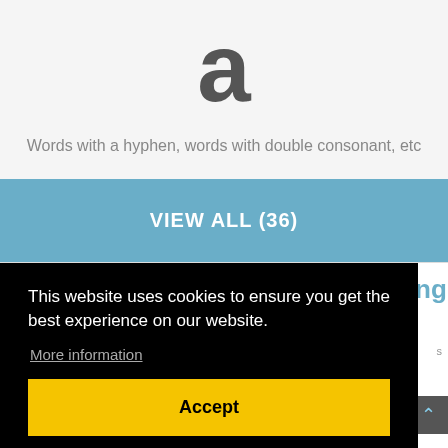a
Words with a hyphen, words with double consonant, etc
VIEW ALL (36)
This website uses cookies to ensure you get the best experience on our website.
More information
Accept
ding